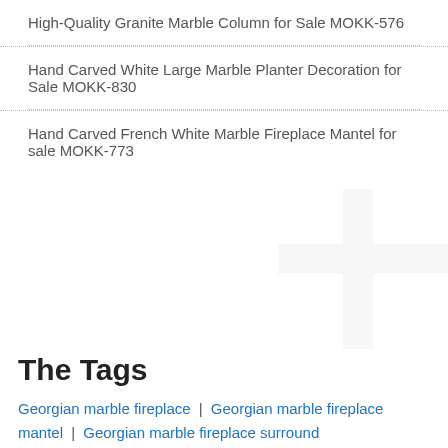High-Quality Granite Marble Column for Sale MOKK-576
Hand Carved White Large Marble Planter Decoration for Sale MOKK-830
Hand Carved French White Marble Fireplace Mantel for sale MOKK-773
The Tags
Georgian marble fireplace | Georgian marble fireplace mantel | Georgian marble fireplace surround
[Figure (logo): Trevi Art and Sculpture logo with a classical building/column icon]
Copyright ©2018-2022 Trevi Art Gallery Co.,Ltd Privacy Policy All rights reserved Sitemap